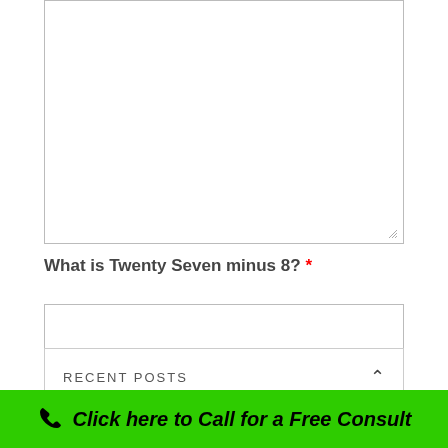[Figure (screenshot): Empty textarea form field with resize handle in bottom-right corner]
What is Twenty Seven minus 8? *
[Figure (screenshot): Empty text input field]
Submit
RECENT POSTS
Click here to Call for a Free Consult